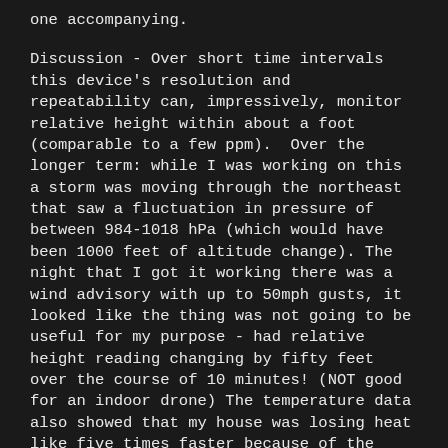one accompanying.
Discussion - Over short time intervals this device's resolution and repeatability can, impressively, monitor relative height within about a foot (comparable to a few ppm).  Over the longer term: while I was working on this a storm was moving through the northeast that saw a fluctuation in pressure of between 984-1018 hPa (which would have been 1000 feet of altitude change). The night that I got it working there was a wind advisory with up to 50mph gusts, it looked like the thing was not going to be useful for my purpose - had relative height reading changing by fifty feet over the course of 10 minutes! (NOT good for an indoor drone) The temperature data also showed that my house was losing heat like five times faster because of the wind (new windows?). When the wind died down my 10 minute drifts from a unit on my desk decreased to the two foot range.
Think I'll keep one (or several) running for a while (anywhere there is a usb charger) and cycle the collection